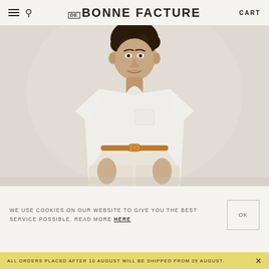DE BONNE FACTURE  CART
[Figure (photo): Young man with curly hair wearing a white crew-neck pocket t-shirt and cream-colored wide-leg trousers with a tan leather belt, standing against a light gray-beige background with hands in pockets.]
WE USE COOKIES ON OUR WEBSITE TO GIVE YOU THE BEST SERVICE POSSIBLE. READ MORE HERE
ALL ORDERS PLACED AFTER 10 AUGUST WILL BE SHIPPED FROM 29 AUGUST.